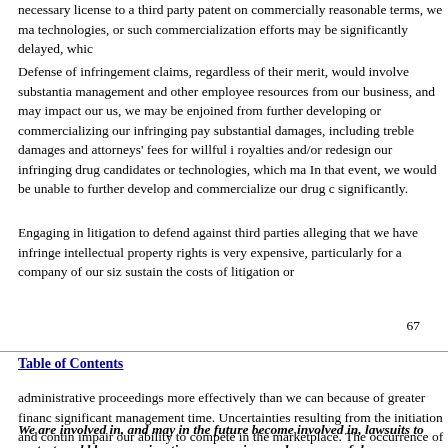necessary license to a third party patent on commercially reasonable terms, we may technologies, or such commercialization efforts may be significantly delayed, whic
Defense of infringement claims, regardless of their merit, would involve substantia management and other employee resources from our business, and may impact our us, we may be enjoined from further developing or commercializing our infringing pay substantial damages, including treble damages and attorneys' fees for willful i royalties and/or redesign our infringing drug candidates or technologies, which ma In that event, we would be unable to further develop and commercialize our drug c significantly.
Engaging in litigation to defend against third parties alleging that we have infringe intellectual property rights is very expensive, particularly for a company of our siz sustain the costs of litigation or
67
Table of Contents
administrative proceedings more effectively than we can because of greater financ significant management time. Uncertainties resulting from the initiation and contin impair our ability to compete in the marketplace. The occurrence of any of the fore condition or results of operations.
We are involved in, and may in the future become involved in, lawsuits to protect could be expensive, time-consuming, and unsuccessful.